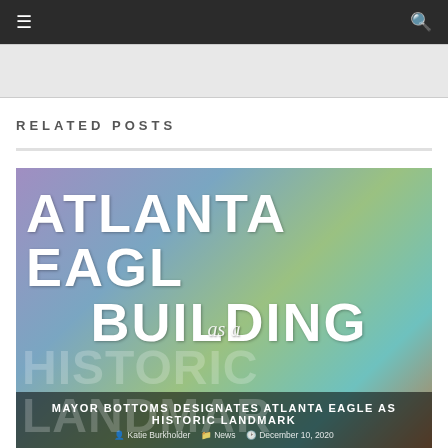☰  🔍
[Figure (other): Gray advertisement banner placeholder]
RELATED POSTS
[Figure (photo): Article card for 'Mayor Bottoms Designates Atlanta Eagle as Historic Landmark' showing the Atlanta Eagle Building text overlaid on a colorful building photo with rainbow flags. Overlay text reads: ATLANTA EAGLE BUILDING as a HISTORIC LANDMARK. Caption: MAYOR BOTTOMS DESIGNATES ATLANTA EAGLE AS HISTORIC LANDMARK. By Katie Burkholder | News | December 10, 2020.]